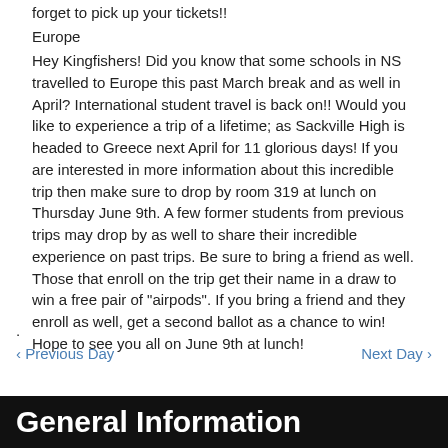forget to pick up your tickets!!
Europe
Hey Kingfishers! Did you know that some schools in NS travelled to Europe this past March break and as well in April? International student travel is back on!! Would you like to experience a trip of a lifetime; as Sackville High is headed to Greece next April for 11 glorious days! If you are interested in more information about this incredible trip then make sure to drop by room 319 at lunch on Thursday June 9th. A few former students from previous trips may drop by as well to share their incredible experience on past trips. Be sure to bring a friend as well. Those that enroll on the trip get their name in a draw to win a free pair of "airpods". If you bring a friend and they enroll as well, get a second ballot as a chance to win! Hope to see you all on June 9th at lunch!
.
‹ Previous Day   Next Day ›
General Information